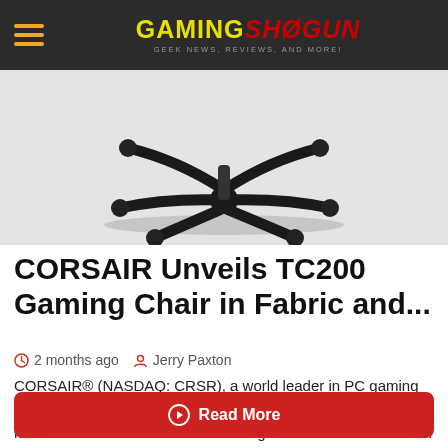GAMING SHOGUN — GEEK NEWS, REVIEWS, AND MORE!
[Figure (photo): Bottom/base of a black gaming chair showing the five-star caster wheel base on a light grey background]
CORSAIR Unveils TC200 Gaming Chair in Fabric and...
2 months ago   Jerry Paxton
CORSAIR® (NASDAQ: CRSR), a world leader in PC gaming peripherals and enthusiast components, today launched the new CORSAIR TC200 Fabric Gaming Chair and the CORSAIR TC200 Leatherette Gaming...
Read More